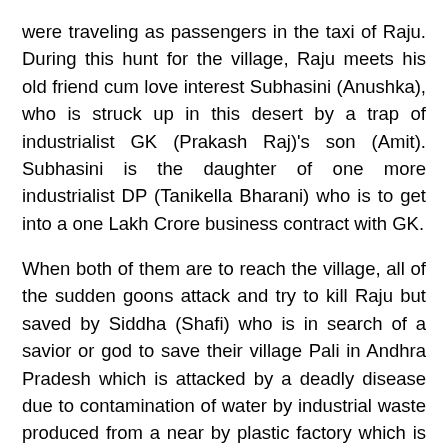were traveling as passengers in the taxi of Raju. During this hunt for the village, Raju meets his old friend cum love interest Subhasini (Anushka), who is struck up in this desert by a trap of industrialist GK (Prakash Raj)'s son (Amit). Subhasini is the daughter of one more industrialist DP (Tanikella Bharani) who is to get into a one Lakh Crore business contract with GK.
When both of them are to reach the village, all of the sudden goons attack and try to kill Raju but saved by Siddha (Shafi) who is in search of a savior or god to save their village Pali in Andhra Pradesh which is attacked by a deadly disease due to contamination of water by industrial waste produced from a near by plastic factory which is owned by none other than GK. When Mahesh reach village Pali with the help of Siddha, he was seen as a god Shiva by village head (Rao Ramesh) and villagers.